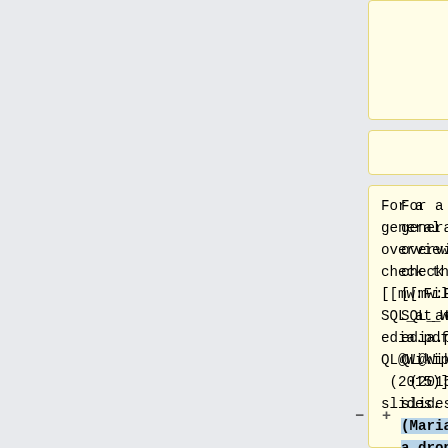Wikimedia sites.
For a general overview, check the [[mw:File:MySQL_at_Wikipedia.pdf|MySQL@Wikipedia (2015)]] slides.
For a general overview, check the [[mw:File:MySQL_at_Wikipedia.pdf|MySQL@Wikipedia (2015)]] slides (MariaDB is a drop-in replacement for [[w:en:MySQL|MySQL]], which we